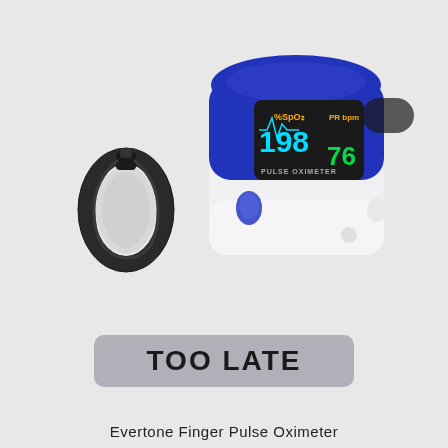[Figure (photo): A blue and white finger pulse oximeter device with a digital display showing readings (198, 76, SpO2, PR, PULSE OXIMETER), accompanied by a black lanyard/strap, on a light gray background.]
TOO LATE
Evertone Finger Pulse Oximeter